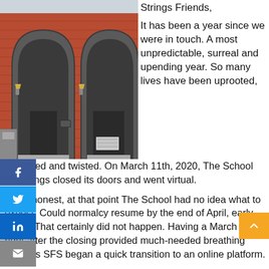[Figure (photo): Exterior of a brick building with arched windows and doorways, dark painted arch frames, a lantern on the wall, and a small sign by the door]
Strings Friends,
It has been a year since we were in touch. A most unpredictable, surreal and upending year. So many lives have been uprooted, shattered and twisted. On March 11th, 2020, The School for Strings closed its doors and went virtual.
To be honest, at that point The School had no idea what to expect. Could normalcy resume by the end of April, early June? That certainly did not happen. Having a March break right after the closing provided much-needed breathing room as SFS began a quick transition to an online platform.